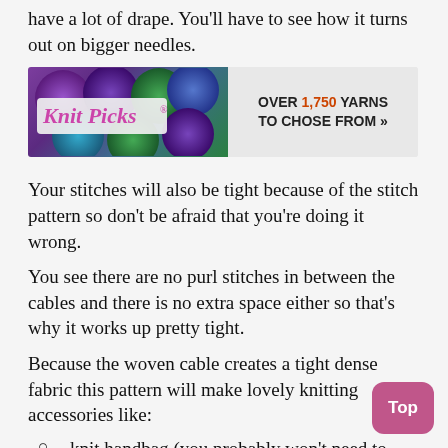have a lot of drape. You'll have to see how it turns out on bigger needles.
[Figure (photo): KnitPicks advertisement banner showing colorful yarn rolls in purple, green, and teal colors with text 'OVER 1,750 YARNS TO CHOSE FROM »']
Your stitches will also be tight because of the stitch pattern so don't be afraid that you're doing it wrong.
You see there are no purl stitches in between the cables and there is no extra space either so that's why it works up pretty tight.
Because the woven cable creates a tight dense fabric this pattern will make lovely knitting accessories like:
knit handbag (you probably won't need to line your bag)